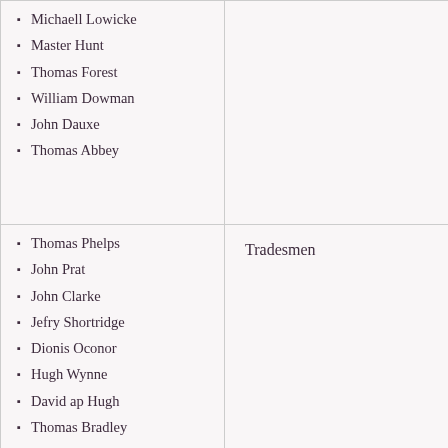Michaell Lowicke
Master Hunt
Thomas Forest
William Dowman
John Dauxe
Thomas Abbey
Thomas Phelps
John Prat
John Clarke
Jefry Shortridge
Dionis Oconor
Hugh Wynne
David ap Hugh
Thomas Bradley
John Burras
Thomas Lavander
Henry Bell
Tradesmen